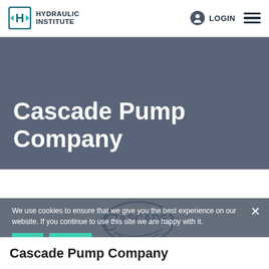HYDRAULIC INSTITUTE | LOGIN
Cascade Pump Company
[Figure (logo): Cascade Pump Company logo - circular emblem with 'CASCADE' text and 'MANUFACTURERS OF AXIAL & MIXED FLOW PUMPING EQUIPMENT' tagline]
We use cookies to ensure that we give you the best experience on our website. If you continue to use this site we are happy with it.
Cascade Pump Company